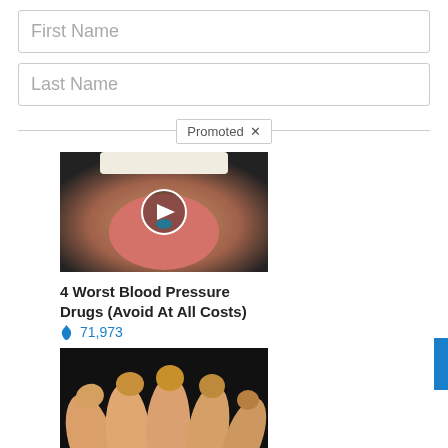First Name
Last Name
Promoted ✕
[Figure (photo): Close-up photo of a person sticking out tongue with a blue pill on it, with a video play button overlay]
4 Worst Blood Pressure Drugs (Avoid At All Costs)
🔥 71,973
[Figure (photo): Close-up photo of yellowish fingernails and fingers]
4 Warning Signs Of Dementia (#2 Is Creepy)
🔥 27,605